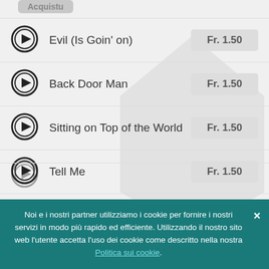Evil (Is Goin' on) — Fr. 1.50
Back Door Man — Fr. 1.50
Sitting on Top of the World — Fr. 1.50
Tell Me — Fr. 1.50
Smokestack Lightnin' — Fr. 1.50
Noi e i nostri partner utilizziamo i cookie per fornire i nostri servizi in modo più rapido ed efficiente. Utilizzando il nostro sito web l'utente accetta l'uso dei cookie come descritto nella nostra Politica sui cookie.